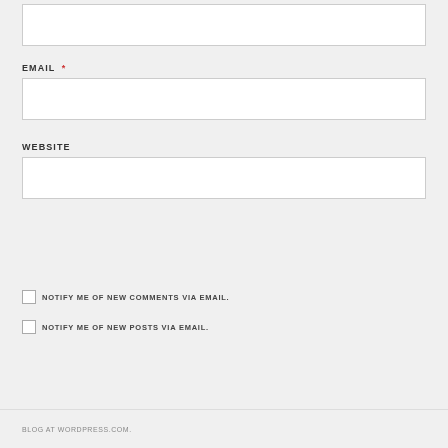[Input field - top, no label visible]
EMAIL *
[Email input field]
WEBSITE
[Website input field]
POST COMMENT
NOTIFY ME OF NEW COMMENTS VIA EMAIL.
NOTIFY ME OF NEW POSTS VIA EMAIL.
BLOG AT WORDPRESS.COM.